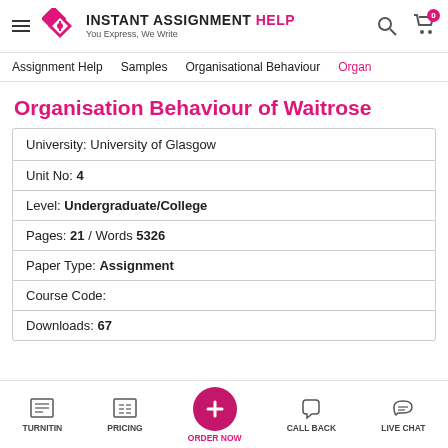INSTANT ASSIGNMENT HELP – You Express, We Write
Assignment Help | Samples | Organisational Behaviour | Organ
Organisation Behaviour of Waitrose
| Field | Value |
| --- | --- |
| University: | University of Glasgow |
| Unit No: | 4 |
| Level: | Undergraduate/College |
| Pages: | 21 / Words 5326 |
| Paper Type: | Assignment |
| Course Code: |  |
| Downloads: | 67 |
TURNITIN | PRICING | ORDER NOW | CALL BACK | LIVE CHAT